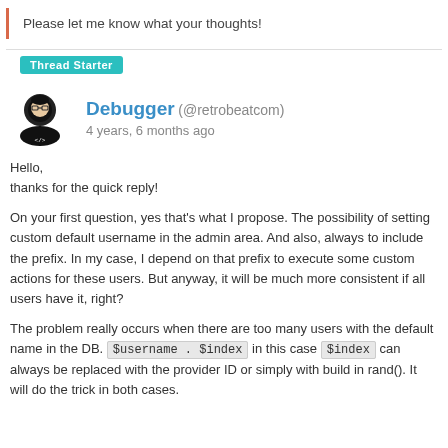Please let me know what your thoughts!
Thread Starter
Debugger (@retrobeatcom) 4 years, 6 months ago
Hello,
thanks for the quick reply!

On your first question, yes that's what I propose. The possibility of setting custom default username in the admin area. And also, always to include the prefix. In my case, I depend on that prefix to execute some custom actions for these users. But anyway, it will be much more consistent if all users have it, right?

The problem really occurs when there are too many users with the default name in the DB. $username . $index in this case $index can always be replaced with the provider ID or simply with build in rand(). It will do the trick in both cases.